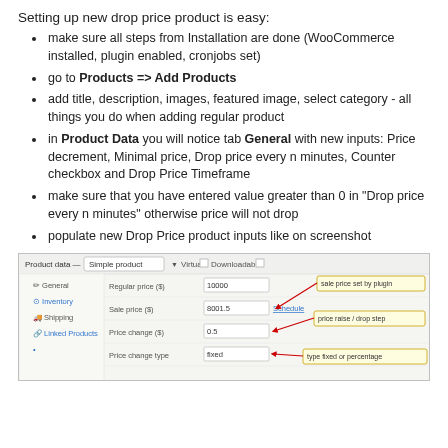Setting up new drop price product is easy:
make sure all steps from Installation are done (WooCommerce installed, plugin enabled, cronjobs set)
go to Products => Add Products
add title, description, images, featured image, select category - all things you do when adding regular product
in Product Data you will notice tab General with new inputs: Price decrement, Minimal price, Drop price every n minutes, Counter checkbox and Drop Price Timeframe
make sure that you have entered value greater than 0 in "Drop price every n minutes" otherwise price will not drop
populate new Drop Price product inputs like on screenshot
[Figure (screenshot): WooCommerce Product Data panel showing fields: Regular price (10000), Sale price (8001.5) with Schedule link, Price change (0.5), Price change type (fixed). Callout annotations point to: sale price set by plugin, price raise / drop step, type fixed or percentage.]